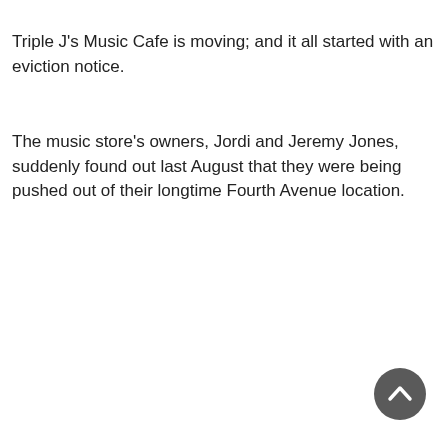Triple J's Music Cafe is moving; and it all started with an eviction notice.
The music store's owners, Jordi and Jeremy Jones, suddenly found out last August that they were being pushed out of their longtime Fourth Avenue location.
[Figure (other): Scroll-to-top button: dark grey circle with white upward chevron arrow]